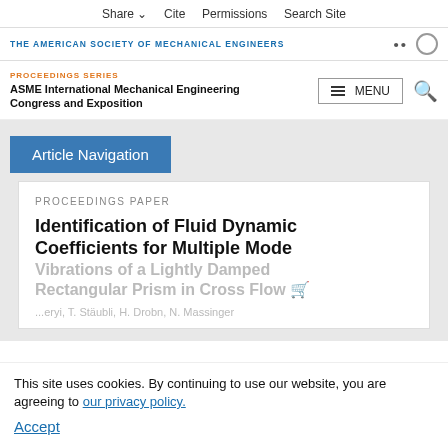Share  Cite  Permissions  Search Site
THE AMERICAN SOCIETY OF MECHANICAL ENGINEERS
PROCEEDINGS SERIES
ASME International Mechanical Engineering Congress and Exposition
Article Navigation
PROCEEDINGS PAPER
Identification of Fluid Dynamic Coefficients for Multiple Mode Vibrations of a Lightly Damped Rectangular Prism in Cross Flow
Authors (partially visible)
This site uses cookies. By continuing to use our website, you are agreeing to our privacy policy.
Accept